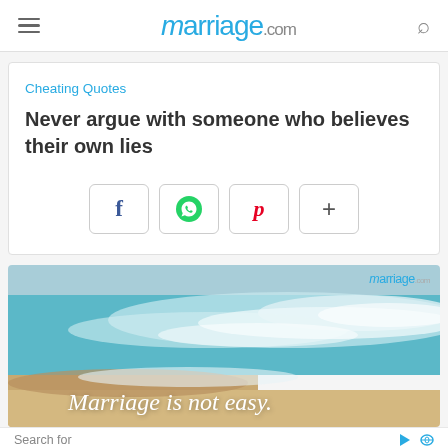marriage.com
Cheating Quotes
Never argue with someone who believes their own lies
[Figure (screenshot): Social sharing buttons: Facebook (f), WhatsApp (green phone icon), Pinterest (p), and a plus (+) button]
[Figure (photo): Ocean wave beach photo with text overlay 'Marriage is not easy.' and marriage.com logo watermark]
Search for
1. BIBLE SCRIPTURE QUOTES
yourself to another person